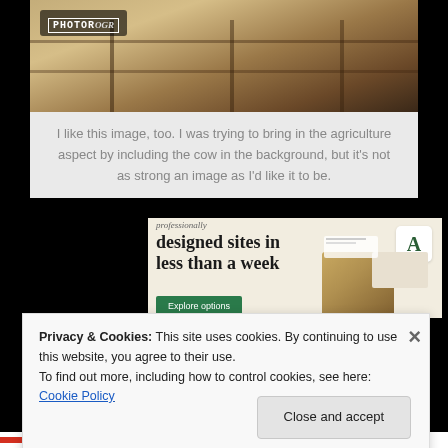[Figure (photo): Photograph of a wooden fence/gate with dry grass in the background, with a PHOTOGRAPHR logo overlay in the top-left corner]
I like this image, too. I was trying to bring in the agriculture aspect by including the cow in the background, but it's not as strong an image as I'd like it to be.
[Figure (screenshot): Advertisement banner with cream/beige background showing text 'professionally designed sites in less than a week' with an 'Explore options' green button and mockup UI screenshots on the right]
Privacy & Cookies: This site uses cookies. By continuing to use this website, you agree to their use.
To find out more, including how to control cookies, see here: Cookie Policy
Close and accept